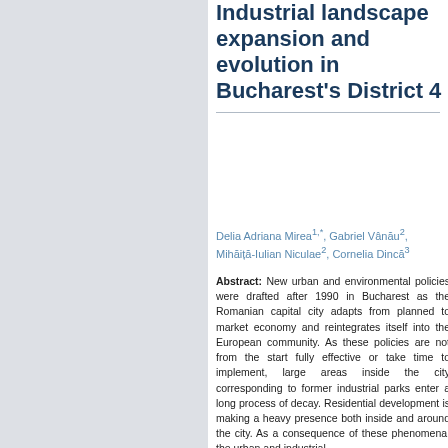Industrial landscape expansion and evolution in Bucharest's District 4
Delia Adriana Mirea1,*, Gabriel Vânău2, Mihăiță-Iulian Niculae2, Cornelia Dincă3
Abstract: New urban and environmental policies were drafted after 1990 in Bucharest as the Romanian capital city adapts from planned to market economy and reintegrates itself into the European community. As these policies are not from the start fully effective or take time to implement, large areas inside the city corresponding to former industrial parks enter a long process of decay. Residential development is making a heavy presence both inside and around the city. As a consequence of these phenomena, the urban and industrial